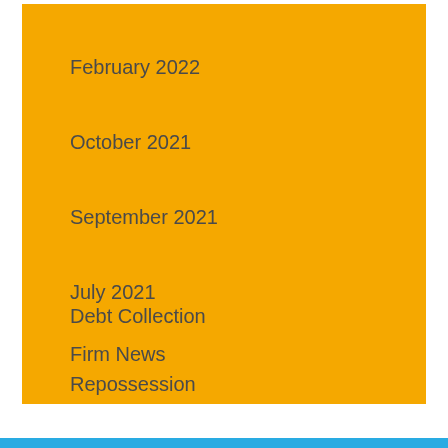February 2022
October 2021
September 2021
July 2021
Debt Collection
Firm News
Repossession